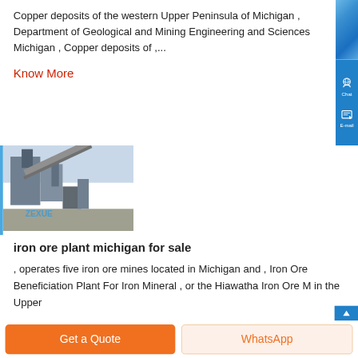Copper deposits of the western Upper Peninsula of Michigan , Department of Geological and Mining Engineering and Sciences Michigan , Copper deposits of ,...
Know More
[Figure (photo): Industrial mining plant with large structures and conveyor belts, blue watermark text visible]
iron ore plant michigan for sale
, operates five iron ore mines located in Michigan and , Iron Ore Beneficiation Plant For Iron Mineral , or the Hiawatha Iron Ore M in the Upper
Get a Quote
WhatsApp